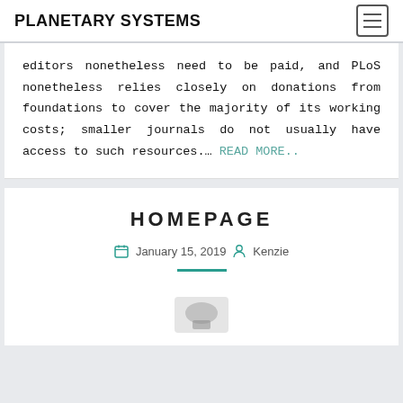PLANETARY SYSTEMS
editors nonetheless need to be paid, and PLoS nonetheless relies closely on donations from foundations to cover the majority of its working costs; smaller journals do not usually have access to such resources.... READ MORE..
HOMEPAGE
January 15, 2019  Kenzie